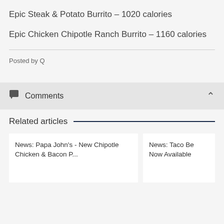Epic Steak & Potato Burrito – 1020 calories
Epic Chicken Chipotle Ranch Burrito – 1160 calories
Posted by Q
Comments
Related articles
News: Papa John's - New Chipotle Chicken & Bacon P...
News: Taco Be Now Available